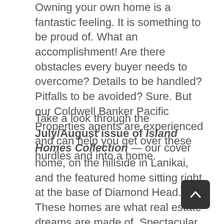Owning your own home is a fantastic feeling. It is something to be proud of. What an accomplishment! Are there obstacles every buyer needs to overcome? Details to be handled? Pitfalls to be avoided? Sure. But our Coldwell Banker Pacific Properties agents are experienced and can help you get over these hurdles and into a home.
Take a look through the July/August issue of Island Homes Collection — our cover home, on the hillside in Lanikai, and the featured home sitting right at the base of Diamond Head. These homes are what real estate dreams are made of. Spectacular. Truly paradise. But you don't need to spend millions to feel like you've hit the real estate jackpot. Wouldn't it be great to host your next barbecue in your own home? There will be a lot of happy buyers doing just that when this year's summer